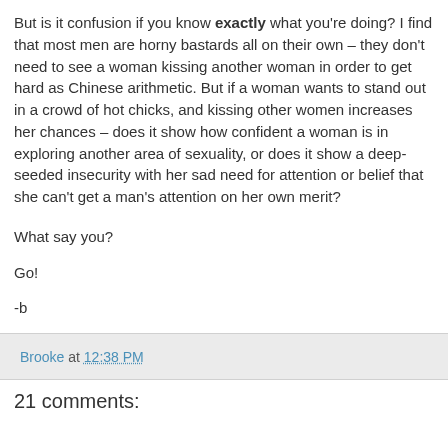But is it confusion if you know exactly what you're doing? I find that most men are horny bastards all on their own – they don't need to see a woman kissing another woman in order to get hard as Chinese arithmetic. But if a woman wants to stand out in a crowd of hot chicks, and kissing other women increases her chances – does it show how confident a woman is in exploring another area of sexuality, or does it show a deep-seeded insecurity with her sad need for attention or belief that she can't get a man's attention on her own merit?
What say you?
Go!
-b
Brooke at 12:38 PM
21 comments: